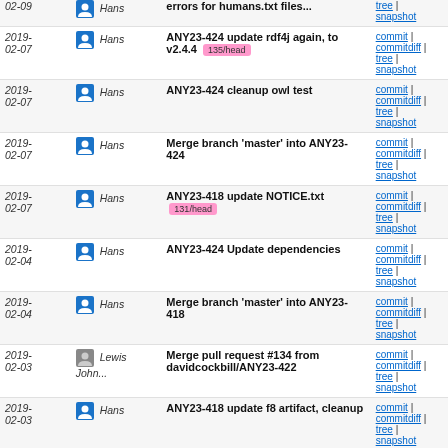| Date | Author | Message | Links |
| --- | --- | --- | --- |
| 2019-02-09 | Hans | errors for humans.txt files... | commit | commitdiff | tree | snapshot |
| 2019-02-07 | Hans | ANY23-424 update rdf4j again, to v2.4.4 [135/head] | commit | commitdiff | tree | snapshot |
| 2019-02-07 | Hans | ANY23-424 cleanup owl test | commit | commitdiff | tree | snapshot |
| 2019-02-07 | Hans | Merge branch 'master' into ANY23-424 | commit | commitdiff | tree | snapshot |
| 2019-02-07 | Hans | ANY23-418 update NOTICE.txt [131/head] | commit | commitdiff | tree | snapshot |
| 2019-02-04 | Hans | ANY23-424 Update dependencies | commit | commitdiff | tree | snapshot |
| 2019-02-04 | Hans | Merge branch 'master' into ANY23-418 | commit | commitdiff | tree | snapshot |
| 2019-02-03 | Lewis John... | Merge pull request #134 from davidcockbill/ANY23-422 | commit | commitdiff | tree | snapshot |
| 2019-02-03 | Hans | ANY23-418 update f8 artifact, cleanup | commit | commitdiff | tree | snapshot |
| 2019-02-03 | Hans | Merge branch 'master' into ANY23-418 | commit | commitdiff | tree | snapshot |
| 2019-01-31 | David Cockbill | ANY23-422 Error message when any23 cli tool used | commit | commitdiff | tree |